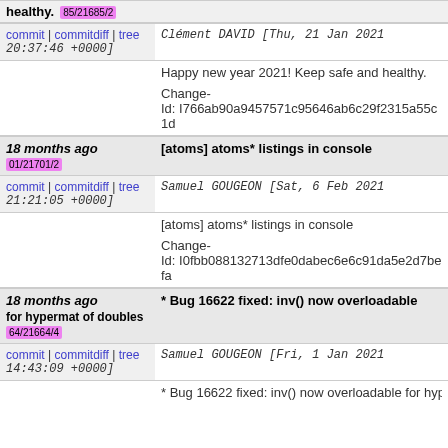healthy. 85/21685/2
commit | commitdiff | tree   Clément DAVID [Thu, 21 Jan 2021 20:37:46 +0000]
Happy new year 2021! Keep safe and healthy.

Change-Id: I766ab90a9457571c95646ab6c29f2315a55c1d
18 months ago   [atoms] atoms* listings in console
01/21701/2
commit | commitdiff | tree   Samuel GOUGEON [Sat, 6 Feb 2021 21:21:05 +0000]
[atoms] atoms* listings in console

Change-Id: I0fbb088132713dfe0dabec6e6c91da5e2d7befa
18 months ago   * Bug 16622 fixed: inv() now overloadable for hypermat of doubles   64/21664/4
commit | commitdiff | tree   Samuel GOUGEON [Fri, 1 Jan 2021 14:43:09 +0000]
* Bug 16622 fixed: inv() now overloadable for hype